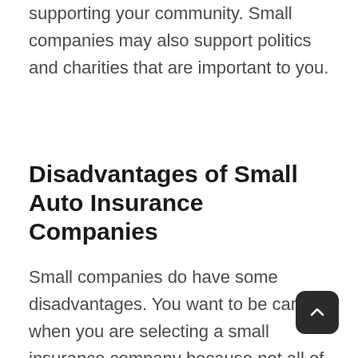supporting your community. Small companies may also support politics and charities that are important to you.
Disadvantages of Small Auto Insurance Companies
Small companies do have some disadvantages. You want to be careful when you are selecting a small insurance company because not all of them are financially stable. You need to make sure that if you ever have a claim there won't any problem for the car insurance company to compensate you according to your coverage.